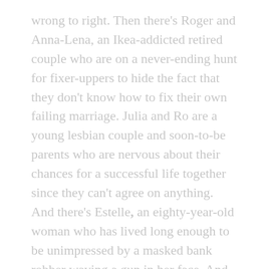wrong to right. Then there's Roger and Anna-Lena, an Ikea-addicted retired couple who are on a never-ending hunt for fixer-uppers to hide the fact that they don't know how to fix their own failing marriage. Julia and Ro are a young lesbian couple and soon-to-be parents who are nervous about their chances for a successful life together since they can't agree on anything. And there's Estelle, an eighty-year-old woman who has lived long enough to be unimpressed by a masked bank robber waving a gun in her face. And despite the story she tells them all, Estelle hasn't really come to the apartment to view it for her daughter, and her husband really isn't outside parking the car.
As police surround the premises and television channels broadcast the hostage situation live, the tension mounts and even deeper secrets are slowly revealed. Before long, the robber must decide which is the more terrifying prospect: going out to face the police, or staying in the